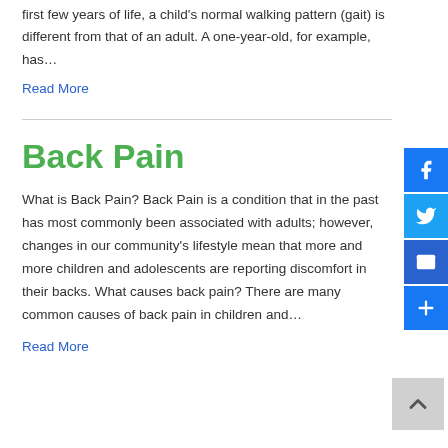first few years of life, a child's normal walking pattern (gait) is different from that of an adult. A one-year-old, for example, has…
Read More
Back Pain
What is Back Pain? Back Pain is a condition that in the past has most commonly been associated with adults; however, changes in our community's lifestyle mean that more and more children and adolescents are reporting discomfort in their backs. What causes back pain? There are many common causes of back pain in children and…
Read More